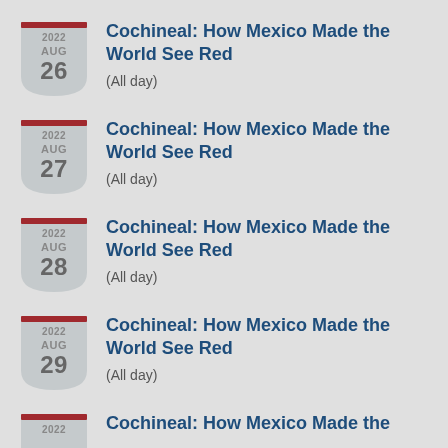2022 AUG 26 — Cochineal: How Mexico Made the World See Red
(All day)
2022 AUG 27 — Cochineal: How Mexico Made the World See Red
(All day)
2022 AUG 28 — Cochineal: How Mexico Made the World See Red
(All day)
2022 AUG 29 — Cochineal: How Mexico Made the World See Red
(All day)
2022 — Cochineal: How Mexico Made the (truncated)